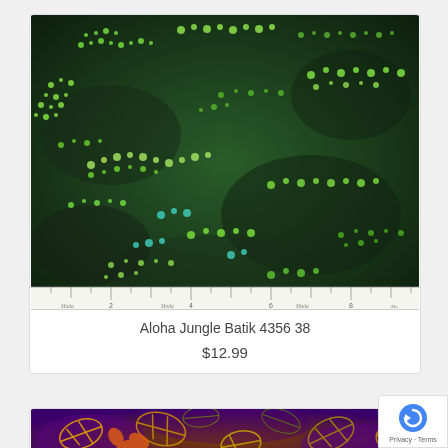[Figure (photo): Green batik fabric with swirling patterns of small green/turquoise dots on dark background, with a ruler along the bottom edge showing Moda branding]
Aloha Jungle Batik 4356 38
$12.99
[Figure (photo): Floral batik fabric with yellow, orange, and green tropical flowers and leaves on a purple background]
[Figure (other): reCAPTCHA badge with Privacy and Terms links]